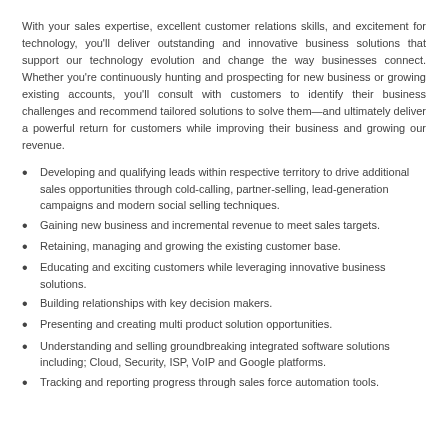With your sales expertise, excellent customer relations skills, and excitement for technology, you'll deliver outstanding and innovative business solutions that support our technology evolution and change the way businesses connect. Whether you're continuously hunting and prospecting for new business or growing existing accounts, you'll consult with customers to identify their business challenges and recommend tailored solutions to solve them—and ultimately deliver a powerful return for customers while improving their business and growing our revenue.
Developing and qualifying leads within respective territory to drive additional sales opportunities through cold-calling, partner-selling, lead-generation campaigns and modern social selling techniques.
Gaining new business and incremental revenue to meet sales targets.
Retaining, managing and growing the existing customer base.
Educating and exciting customers while leveraging innovative business solutions.
Building relationships with key decision makers.
Presenting and creating multi product solution opportunities.
Understanding and selling groundbreaking integrated software solutions including; Cloud, Security, ISP, VoIP and Google platforms.
Tracking and reporting progress through sales force automation tools.